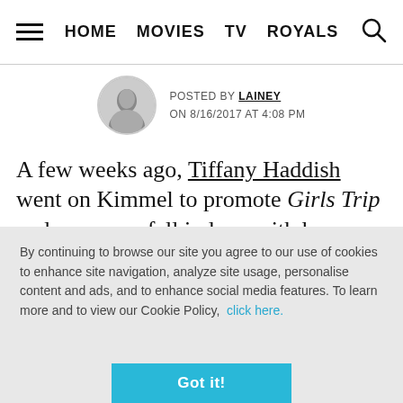HOME  MOVIES  TV  ROYALS
POSTED BY LAINEY
ON 8/16/2017 AT 4:08 PM
A few weeks ago, Tiffany Haddish went on Kimmel to promote Girls Trip and everyone fell in love with her. Then they saw Girls Trip and became obsessed with her. Last night she was on
By continuing to browse our site you agree to our use of cookies to enhance site navigation, analyze site usage, personalise content and ads, and to enhance social media features. To learn more and to view our Cookie Policy,  click here.